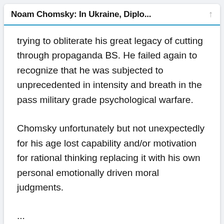Noam Chomsky: In Ukraine, Diplo...
trying to obliterate his great legacy of cutting through propaganda BS. He failed again to recognize that he was subjected to unprecedented in intensity and breath in the pass military grade psychological warfare.
Chomsky unfortunately but not unexpectedly for his age lost capability and/or motivation for rational thinking replacing it with his own personal emotionally driven moral judgments.
...